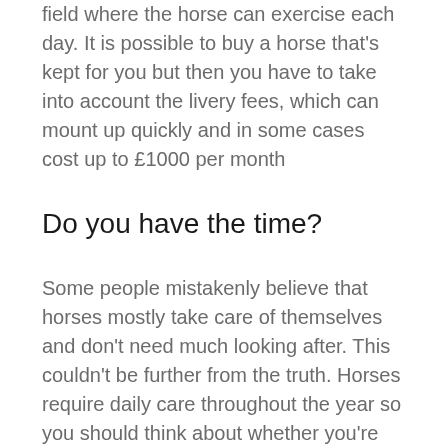field where the horse can exercise each day. It is possible to buy a horse that's kept for you but then you have to take into account the livery fees, which can mount up quickly and in some cases cost up to £1000 per month
Do you have the time?
Some people mistakenly believe that horses mostly take care of themselves and don't need much looking after. This couldn't be further from the truth. Horses require daily care throughout the year so you should think about whether you're able/willing to invest this much time.
It's also worth considering the amount of care that a horse requires when it becomes older and is no longer rideable. It's always worth having a plan in place for euthanasia or